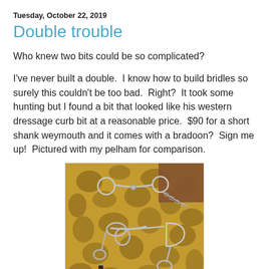Tuesday, October 22, 2019
Double trouble
Who knew two bits could be so complicated?
I've never built a double.  I know how to build bridles so surely this couldn't be too bad.  Right?  It took some hunting but I found a bit that looked like his western dressage curb bit at a reasonable price.  $90 for a short shank weymouth and it comes with a bradoon?  Sign me up!  Pictured with my pelham for comparison.
[Figure (photo): Photograph of horse bits (weymouth, bradoon, and pelham) laid out on a gold and brown tapestry/brocade fabric pillow with leather sofa visible in background. Metal bits with chains and rings are displayed for comparison.]